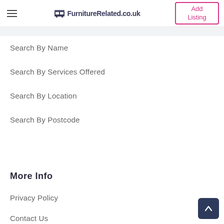FurnitureRelated.co.uk — Add Listing
Search By Name
Search By Services Offered
Search By Location
Search By Postcode
More Info
Privacy Policy
Contact Us